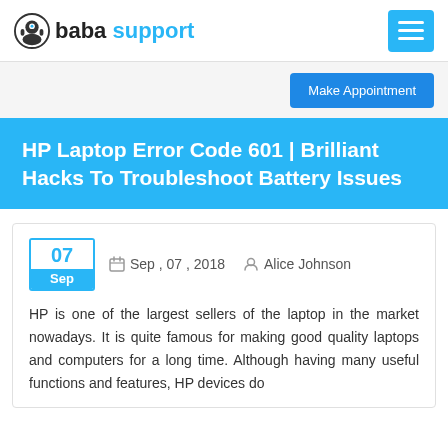baba support
HP Laptop Error Code 601 | Brilliant Hacks To Troubleshoot Battery Issues
Sep , 07 , 2018  Alice Johnson
HP is one of the largest sellers of the laptop in the market nowadays. It is quite famous for making good quality laptops and computers for a long time. Although having many useful functions and features, HP devices do